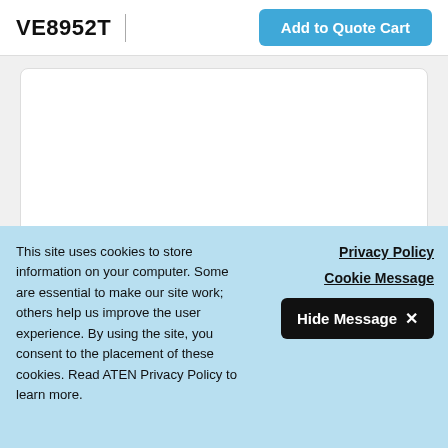VE8952T
[Figure (screenshot): White card placeholder area, likely containing a product image for VE8952T]
Compatible Cables  View All
[Figure (screenshot): Partial thumbnail card row visible at bottom, showing product thumbnails cut off]
This site uses cookies to store information on your computer. Some are essential to make our site work; others help us improve the user experience. By using the site, you consent to the placement of these cookies. Read ATEN Privacy Policy to learn more.
Privacy Policy
Cookie Message
Hide Message ✕